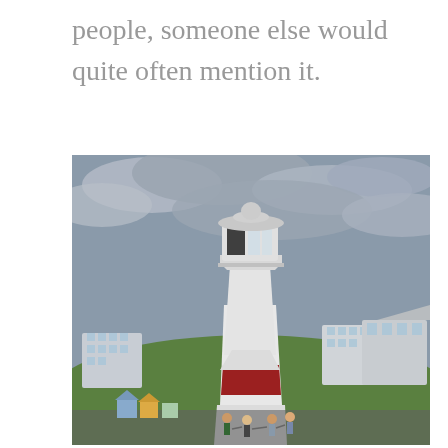people, someone else would quite often mention it.
[Figure (photo): Photograph of a white and red-banded lighthouse tower taken from below, with a cloudy grey sky, green hillside, and residential buildings in the background. Several people are gathered at the base of the lighthouse.]